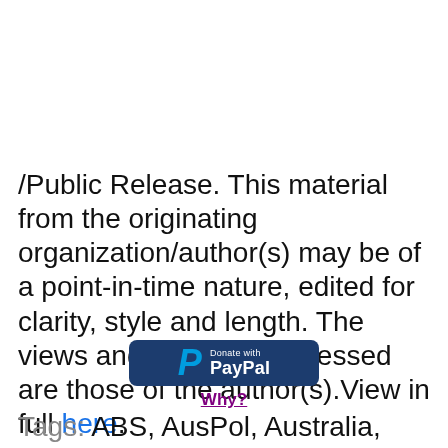/Public Release. This material from the originating organization/author(s) may be of a point-in-time nature, edited for clarity, style and length. The views and opinions expressed are those of the author(s).View in full here.
[Figure (logo): Donate with PayPal button — dark navy rounded rectangle with PayPal 'P' logo and text 'Donate with PayPal']
Why?
Tags: ABS, AusPol, Australia, environment,